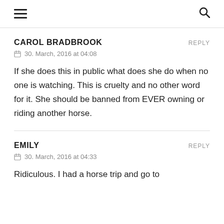≡  🔍
CAROL BRADBROOK
REPLY
30. March, 2016 at 04:08
If she does this in public what does she do when no one is watching. This is cruelty and no other word for it. She should be banned from EVER owning or riding another horse.
EMILY
REPLY
30. March, 2016 at 04:33
Ridiculous. I had a horse trip and go to